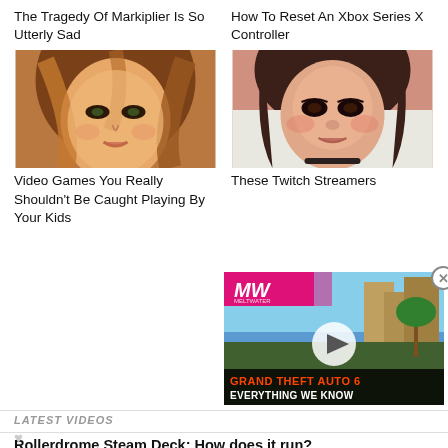The Tragedy Of Markiplier Is So Utterly Sad
How To Reset An Xbox Series X Controller
[Figure (illustration): 3D rendered animated female face with brown hair]
[Figure (photo): Photo of a young woman with dark hair and dramatic makeup]
Video Games You Really Shouldn't Be Caught Playing By Your Kids
These Twitch Streamers
[Figure (screenshot): Video overlay showing MW logo, Grand Theft Auto 6 Everything We Know video thumbnail with play button]
LATEST VIDEOS
Rollerdrome Steam Deck: How does it run?